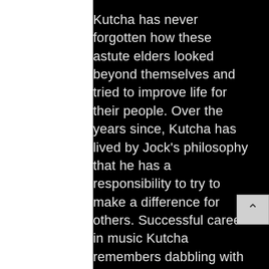Kutcha has never forgotten how these astute elders looked beyond themselves and tried to improve life for their people. Over the years since, Kutcha has lived by Jock's philosophy that he has a responsibility to try to make a difference for others. Successful career in music Kutcha remembers dabbling with writing poetry and lyrics while still at school but it was not until after his time at Koori Kollij that he would go on to perform professionally, singing with Melbourne Koorie band Watbalimba. Through most of the 1990s he was lead singer of the Melbourne-based band Black Fire, which released 2 albums and toured internationally.